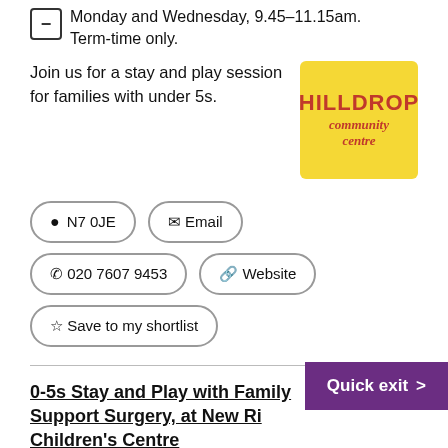Monday and Wednesday, 9.45–11.15am. Term-time only.
Join us for a stay and play session for families with under 5s.
[Figure (logo): Hilldrop Community Centre logo: yellow square background with red bold text HILLDROP above italic red text community centre]
N7 0JE
Email
020 7607 9453
Website
Save to my shortlist
0-5s Stay and Play with Family Support Surgery, at New Ri... Children's Centre